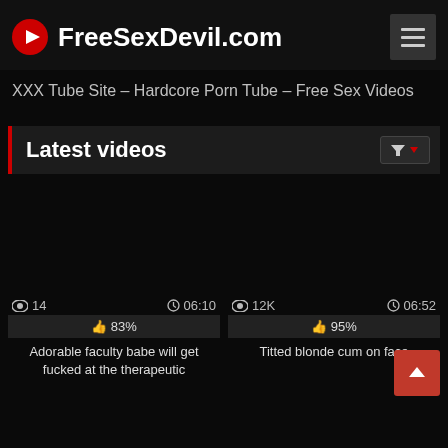FreeSexDevil.com
XXX Tube Site – Hardcore Porn Tube – Free Sex Videos
Latest videos
[Figure (screenshot): Video thumbnail placeholder (dark/black), views: 14, duration: 06:10, rating: 83%]
Adorable faculty babe will get fucked at the therapeutic
[Figure (screenshot): Video thumbnail placeholder (dark/black), views: 12K, duration: 06:52, rating: 95%]
Titted blonde cum on face